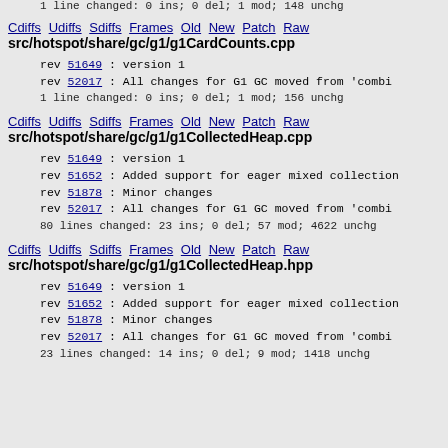1 line changed: 0 ins; 0 del; 1 mod; 148 unchg
Cdiffs Udiffs Sdiffs Frames Old New Patch Raw
src/hotspot/share/gc/g1/g1CardCounts.cpp
rev 51649 : version 1
rev 52017 : All changes for G1 GC moved from 'combi
1 line changed: 0 ins; 0 del; 1 mod; 156 unchg
Cdiffs Udiffs Sdiffs Frames Old New Patch Raw
src/hotspot/share/gc/g1/g1CollectedHeap.cpp
rev 51649 : version 1
rev 51652 : Added support for eager mixed collection
rev 51878 : Minor changes
rev 52017 : All changes for G1 GC moved from 'combi
80 lines changed: 23 ins; 0 del; 57 mod; 4622 unchg
Cdiffs Udiffs Sdiffs Frames Old New Patch Raw
src/hotspot/share/gc/g1/g1CollectedHeap.hpp
rev 51649 : version 1
rev 51652 : Added support for eager mixed collection
rev 51878 : Minor changes
rev 52017 : All changes for G1 GC moved from 'combi
23 lines changed: 14 ins; 0 del; 9 mod; 1418 unchg